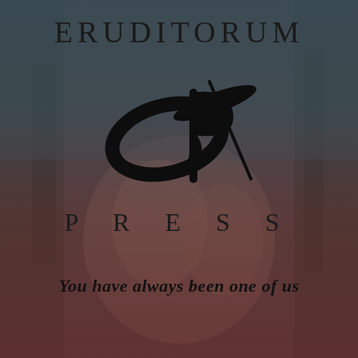[Figure (logo): Eruditorum Press logo with stylized EP monogram, background art of classical figures in a dark reddish-teal overlay]
ERUDITORUM
[Figure (logo): Stylized EP monogram in black calligraphic script]
PRESS
You have always been one of us